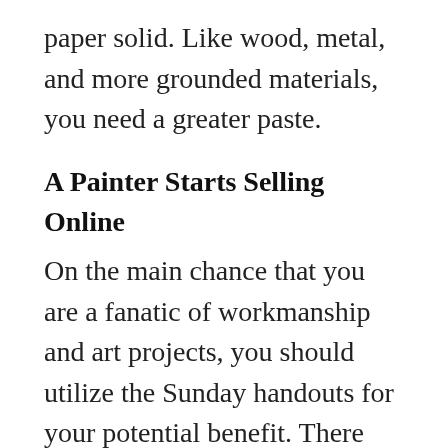paper solid. Like wood, metal, and more grounded materials, you need a greater paste.
A Painter Starts Selling Online
On the main chance that you are a fanatic of workmanship and art projects, you should utilize the Sunday handouts for your potential benefit. There are numerous stores that offer extraordinary arrangements on workmanship supplies, and you will not think about them except if you experience the business papers, so